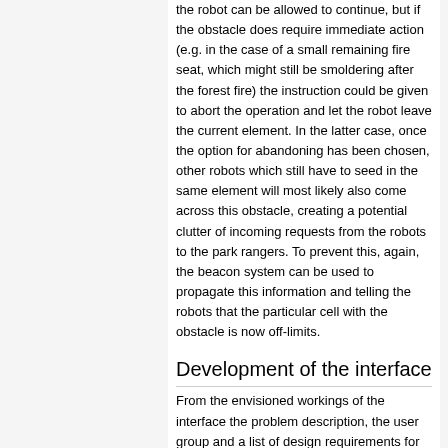the robot can be allowed to continue, but if the obstacle does require immediate action (e.g. in the case of a small remaining fire seat, which might still be smoldering after the forest fire) the instruction could be given to abort the operation and let the robot leave the current element. In the latter case, once the option for abandoning has been chosen, other robots which still have to seed in the same element will most likely also come across this obstacle, creating a potential clutter of incoming requests from the robots to the park rangers. To prevent this, again, the beacon system can be used to propagate this information and telling the robots that the particular cell with the obstacle is now off-limits.
Development of the interface
From the envisioned workings of the interface the problem description, the user group and a list of design requirements for the interface are made. This is done taken into account the limited time left for the project course (2 weeks)